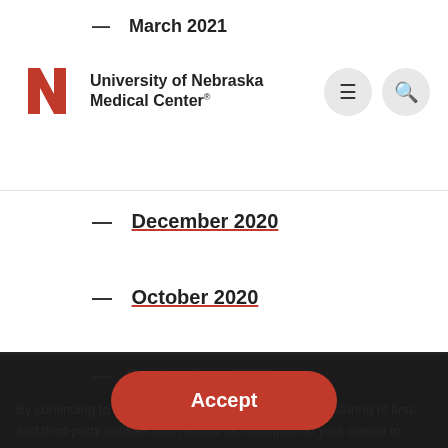University of Nebraska Medical Center
— March 2021
— December 2020
— October 2020
— September 2020
— August 2020
— July 2020
— June 2020
— May 2020
— April 2020
— March 2020
By continuing to browse our website, you agree to the storing of first- and third-party cookies and related technologies on your device to enhance site access and navigation, analyze site usage, authenticate users, facilitate transactions, and assist in our marketing efforts. Please read our privacy notice to learn more.